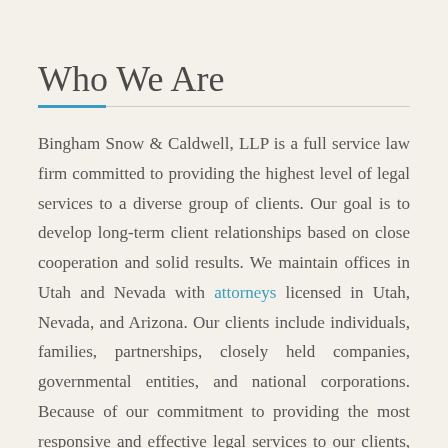Who We Are
Bingham Snow & Caldwell, LLP is a full service law firm committed to providing the highest level of legal services to a diverse group of clients. Our goal is to develop long-term client relationships based on close cooperation and solid results. We maintain offices in Utah and Nevada with attorneys licensed in Utah, Nevada, and Arizona. Our clients include individuals, families, partnerships, closely held companies, governmental entities, and national corporations. Because of our commitment to providing the most responsive and effective legal services to our clients, we have come to be respected as a law firm of unsurpassed